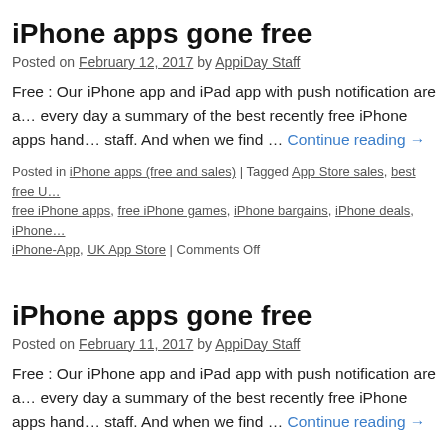iPhone apps gone free
Posted on February 12, 2017 by AppiDay Staff
Free : Our iPhone app and iPad app with push notification are a… every day a summary of the best recently free iPhone apps hand… staff. And when we find … Continue reading →
Posted in iPhone apps (free and sales) | Tagged App Store sales, best free U… free iPhone apps, free iPhone games, iPhone bargains, iPhone deals, iPhone… iPhone-App, UK App Store | Comments Off
iPhone apps gone free
Posted on February 11, 2017 by AppiDay Staff
Free : Our iPhone app and iPad app with push notification are a… every day a summary of the best recently free iPhone apps hand… staff. And when we find … Continue reading →
Posted in iPhone apps (free and sales) | Tagged App Store sales, best free U… free iPhone apps, free iPhone games, iPhone bargains, iPhone deals, iPhone…